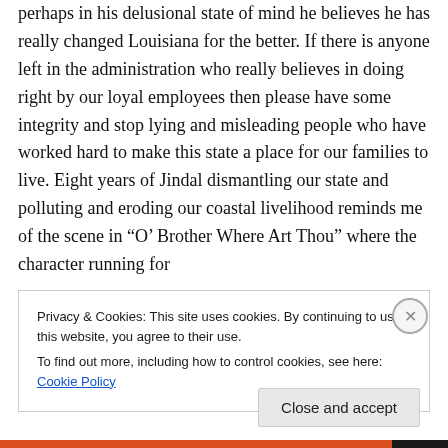perhaps in his delusional state of mind he believes he has really changed Louisiana for the better. If there is anyone left in the administration who really believes in doing right by our loyal employees then please have some integrity and stop lying and misleading people who have worked hard to make this state a place for our families to live. Eight years of Jindal dismantling our state and polluting and eroding our coastal livelihood reminds me of the scene in “O’ Brother Where Art Thou” where the character running for
Privacy & Cookies: This site uses cookies. By continuing to use this website, you agree to their use.
To find out more, including how to control cookies, see here: Cookie Policy
Close and accept